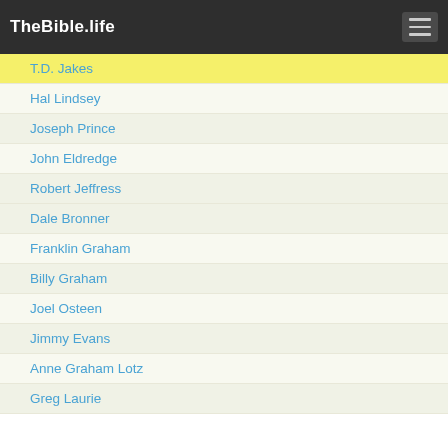TheBible.life
T.D. Jakes
Hal Lindsey
Joseph Prince
John Eldredge
Robert Jeffress
Dale Bronner
Franklin Graham
Billy Graham
Joel Osteen
Jimmy Evans
Anne Graham Lotz
Greg Laurie